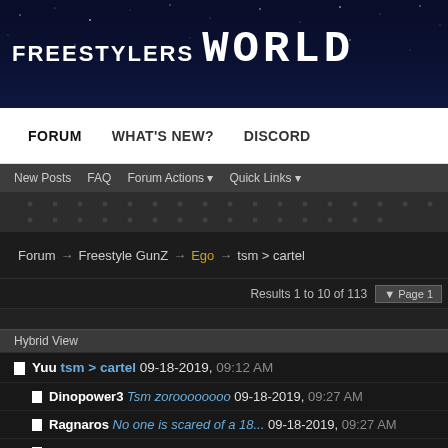FREESTYLERS WORLD
FORUM  WHAT'S NEW?  DISCORD
New Posts  FAQ  Forum Actions  Quick Links
Forum → Freestyle GunZ → Ego → tsm > cartel
Results 1 to 10 of 113  ▼ Page 1
Hybrid View
Yuu tsm > cartel 09-18-2019, 09:12 AM
Dinopower3 Tsm zoroooooooo 09-18-2019, 09:27 AM
Ragnaros No one is scared of a 18... 09-18-2019, 09:27 AM
Dinopower3 Sound like somebody Is jealous 09-18-2019, 09:30 AM
Ragnaros About what part LMAO 09-18-2019,